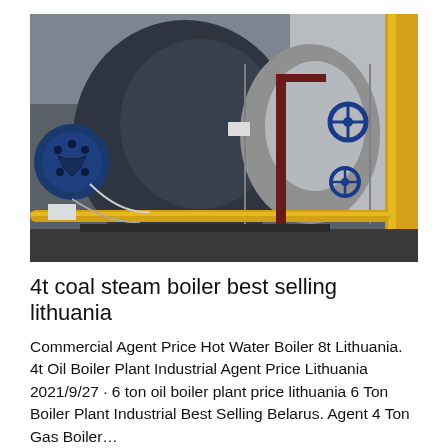[Figure (photo): Industrial boiler plant interior showing large dark cylindrical boiler with blue burner assembly on the left, silver cylindrical boiler body in center, blue valve wheels on pipes to the right, yellow gas supply pipe running horizontally in foreground, set in a industrial facility.]
4t coal steam boiler best selling lithuania
Commercial Agent Price Hot Water Boiler 8t Lithuania. 4t Oil Boiler Plant Industrial Agent Price Lithuania 2021/9/27 · 6 ton oil boiler plant price lithuania 6 Ton Boiler Plant Industrial Best Selling Belarus. Agent 4 Ton Gas Boiler…